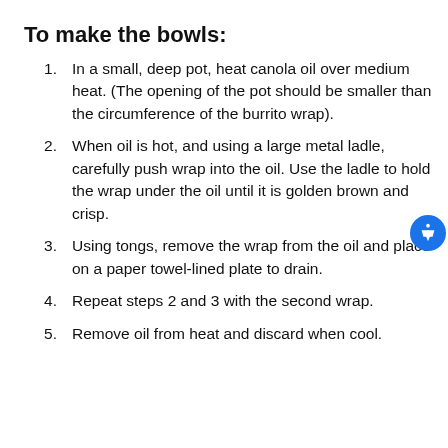To make the bowls:
In a small, deep pot, heat canola oil over medium heat. (The opening of the pot should be smaller than the circumference of the burrito wrap).
When oil is hot, and using a large metal ladle, carefully push wrap into the oil. Use the ladle to hold the wrap under the oil until it is golden brown and crisp.
Using tongs, remove the wrap from the oil and place on a paper towel-lined plate to drain.
Repeat steps 2 and 3 with the second wrap.
Remove oil from heat and discard when cool.